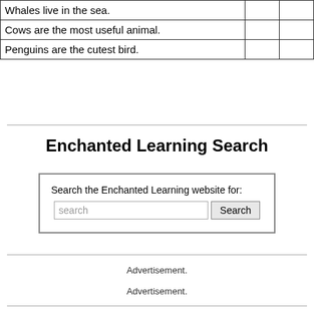|  |  |  |
| --- | --- | --- |
| Whales live in the sea. |  |  |
| Cows are the most useful animal. |  |  |
| Penguins are the cutest bird. |  |  |
Enchanted Learning Search
[Figure (screenshot): Search box with text input labeled 'search' and a Search button, inside a bordered box labeled 'Search the Enchanted Learning website for:']
Advertisement.
Advertisement.